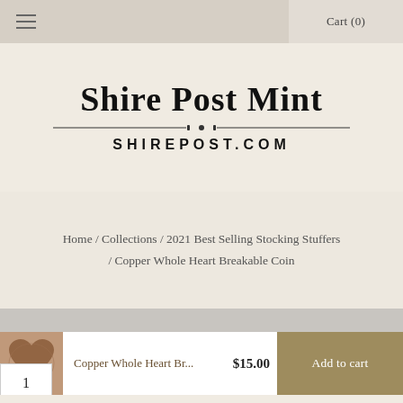Cart (0)
Shire Post Mint
SHIREPOST.COM
Home / Collections / 2021 Best Selling Stocking Stuffers / Copper Whole Heart Breakable Coin
[Figure (photo): Small copper heart-shaped coin thumbnail]
Copper Whole Heart Br...  $15.00
Add to cart
1